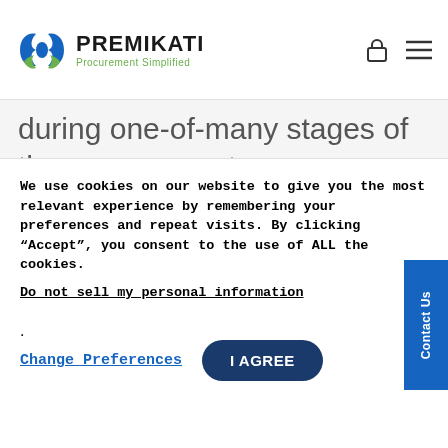[Figure (logo): Premikati logo with stylized double-helix/people icon in blue and green, text 'PREMIKATI' in dark bold, tagline 'Procurement Simplified' in green]
during one-of-many stages of the procurement process. Invariably, low visibility can become even more prevalent during indirect procurement. One of the quickest ways to overcome this hurdle is with an automated
We use cookies on our website to give you the most relevant experience by remembering your preferences and repeat visits. By clicking “Accept”, you consent to the use of ALL the cookies.
Do not sell my personal information.
Change Preferences
I AGREE